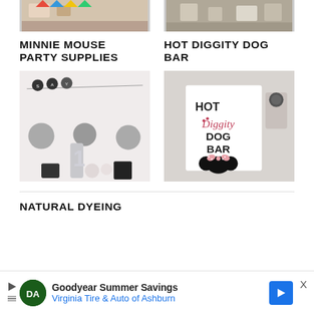[Figure (photo): Partial top photo left - party decoration scene]
[Figure (photo): Partial top photo right - party food table]
MINNIE MOUSE PARTY SUPPLIES
[Figure (photo): Minnie Mouse party setup with banner, decorations and number 1 balloon]
HOT DIGGITY DOG BAR
[Figure (photo): Hot Diggity Dog Bar sign with Minnie Mouse ears and bow]
NATURAL DYEING
Goodyear Summer Savings
Virginia Tire & Auto of Ashburn